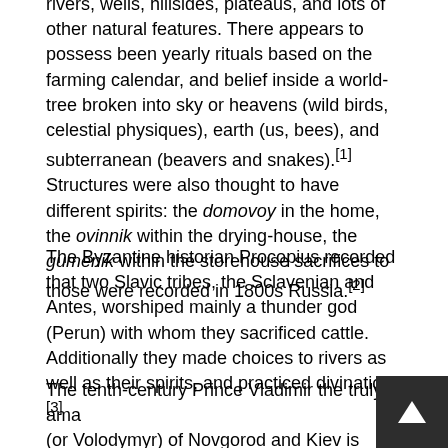rivers, wells, hillsides, plateaus, and lots of other natural features. There appears to possess been yearly rituals based on the farming calendar, and belief inside a world-tree broken into sky or heavens (wild birds, celestial physiques), earth (us, bees), and subterranean (beavers and snakes).[1] Structures were also thought to have different spirits: the domovoy in the home, the ovinnik within the drying-house, the gumenik within the storehouse sacrifices to those were recorded in 1800s Russia.[2]
The Byzantine historian Procopius recorded that two Slavic tribes, the Sclavenian and Antes, worshiped mainly a thunder god (Perun) with whom they sacrificed cattle. Additionally they made choices to rivers as well as their spirits, and practiced divination.[3]
The tenth-century Prince Vladimir the truly amazing (or Volodymyr) of Novgorod and Kiev is among the most detailed sources he apparently worshipped a